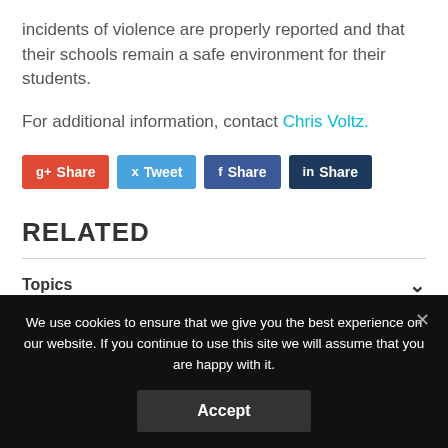incidents of violence are properly reported and that their schools remain a safe environment for their students.
For additional information, contact Chris Voltz.
[Figure (other): Social share buttons: g+ Share (red), Tweet (blue), f Share (dark blue), in Share (navy)]
RELATED
Topics
We use cookies to ensure that we give you the best experience on our website. If you continue to use this site we will assume that you are happy with it.
Accept